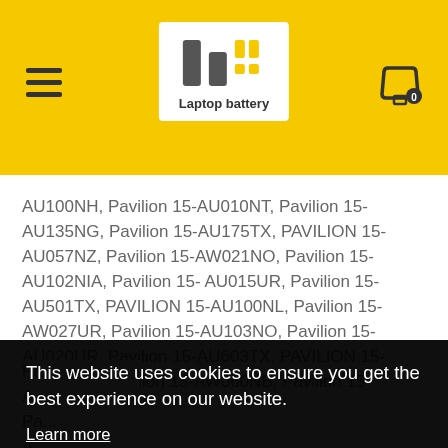[Figure (logo): Laptop Battery store logo with yellow bar chart icon and text 'Laptop battery' on white background]
AU100NH, Pavilion 15-AU010NT, Pavilion 15-AU135NG, Pavilion 15-AU175TX, PAVILION 15-AU057NZ, Pavilion 15-AW021NO, Pavilion 15-AU102NIA, Pavilion 15-AU015UR, Pavilion 15-AU501TX, PAVILION 15-AU100NL, Pavilion 15-AW027UR, Pavilion 15-AU103NO, Pavilion 15-AU020UR, Pavilion 15-AU603TX, PAVILION 15-AU106NL, Pavilion 15-AW060NB, Pavilion 15-AU104NX, Pa... A... Pa... A... Pa... A...
This website uses cookies to ensure you get the best experience on our website. Learn more
Got it!